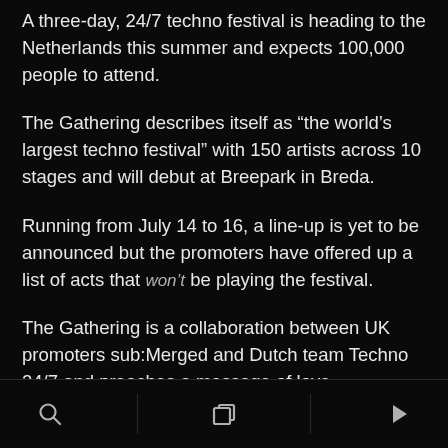A three-day, 24/7 techno festival is heading to the Netherlands this summer and expects 100,000 people to attend.
The Gathering describes itself as “the world’s largest techno festival” with 150 artists across 10 stages and will debut at Breepark in Breda.
Running from July 14 to 16, a line-up is yet to be announced but the promoters have offered up a list of acts that won’t be playing the festival.
The Gathering is a collaboration between UK promoters sub:Merged and Dutch team Techno 24/7 and preaches a message of love.
“It’s time to join forces and make a stand against all the